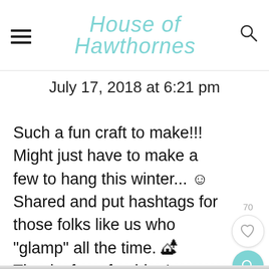House of Hawthornes
July 17, 2018 at 6:21 pm
Such a fun craft to make!!! Might just have to make a few to hang this winter... ☺ Shared and put hashtags for those folks like us who "glamp" all the time. 🏕 Thanks for a fun idea!